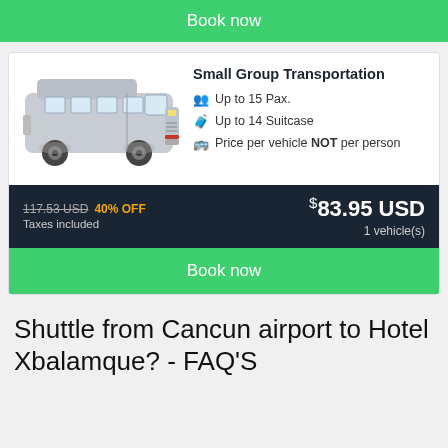Book now
[Figure (photo): Silver/grey passenger van (minibus) facing right, suitable for small group transportation]
Small Group Transportation
Up to 15 Pax.
Up to 14 Suitcase
Price per vehicle NOT per person
117.53 USD  40% OFF  Taxes included  $83.95 USD  1 vehicle(s)
Book now
Shuttle from Cancun airport to Hotel Xbalamque? - FAQ'S